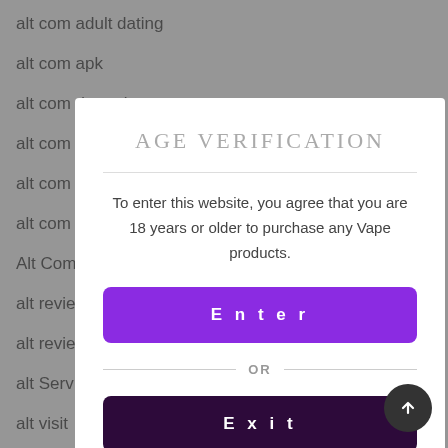alt com adult dating
alt com apk
alt com de preise
alt com
alt com
alt com
Alt Com
alt revie
alt revie
alt Serv
alt visit
altcom
altcom
Altcom
[Figure (screenshot): Age verification modal dialog with title 'AGE VERIFICATION', text 'To enter this website, you agree that you are 18 years or older to purchase any Vape products.', a purple Enter button, an OR divider, and a dark purple Exit button partially visible.]